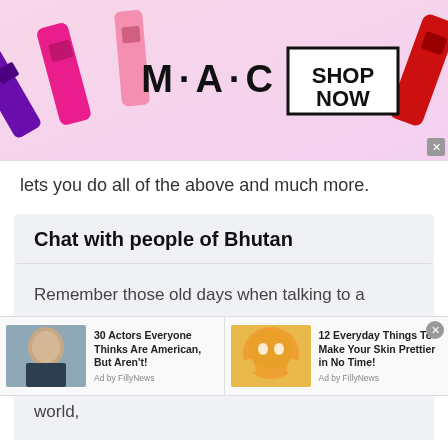[Figure (screenshot): MAC Cosmetics advertisement banner showing colorful lipsticks on left, MAC logo text in center, 'SHOP NOW' box on right, with close button (x) in top-right corner]
lets you do all of the above and much more.
Chat with people of Bhutan
Remember those old days when talking to a stranger was considered as a weird thing? Yeah, that was way back in the 90's. However, now we are living in a digital era. In this digital modern world,
[Figure (screenshot): Two sponsored ad units at bottom: left shows Bruce Willis photo with headline '30 Actors Everyone Thinks Are American, But Aren't! Ad by FillyNews'; right shows woman applying face mask with headline '12 Everyday Things To Make Your Skin Prettier in No Time! Ad by FillyNews'. Close X button in top-right.]